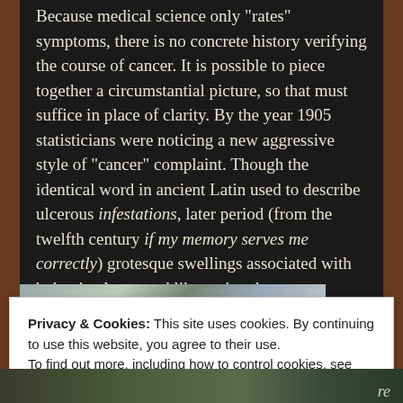Because medical science only 'rates' symptoms, there is no concrete history verifying the course of cancer. It is possible to piece together a circumstantial picture, so that must suffice in place of clarity. By the year 1905 statisticians were noticing a new aggressive style of "cancer" complaint. Though the identical word in ancient Latin used to describe ulcerous infestations, later period (from the twelfth century if my memory serves me correctly) grotesque swellings associated with bubonic plague and like outbreaks were cordially termed "cankers".
[Figure (photo): Partial photo of a person visible at the bottom of the dark content area, partially obscured by cookie banner]
Sp
Privacy & Cookies: This site uses cookies. By continuing to use this website, you agree to their use.
To find out more, including how to control cookies, see here:
Cookie Policy
Close and accept
[Figure (photo): Bottom strip showing partial images, with 're' text visible on the right]